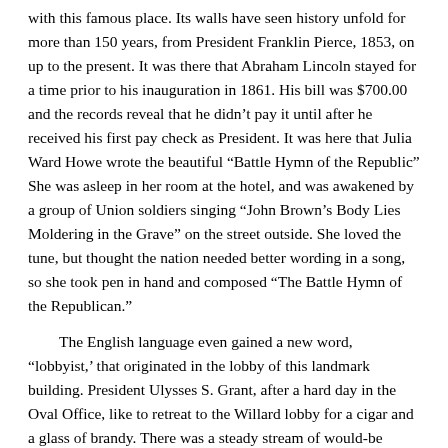with this famous place. Its walls have seen history unfold for more than 150 years, from President Franklin Pierce, 1853, on up to the present. It was there that Abraham Lincoln stayed for a time prior to his inauguration in 1861. His bill was $700.00 and the records reveal that he didn't pay it until after he received his first pay check as President. It was here that Julia Ward Howe wrote the beautiful “Battle Hymn of the Republic” She was asleep in her room at the hotel, and was awakened by a group of Union soldiers singing “John Brown’s Body Lies Moldering in the Grave” on the street outside. She loved the tune, but thought the nation needed better wording in a song, so she took pen in hand and composed “The Battle Hymn of the Republican.”
The English language even gained a new word, “lobbyist,’ that originated in the lobby of this landmark building. President Ulysses S. Grant, after a hard day in the Oval Office, like to retreat to the Willard lobby for a cigar and a glass of brandy. There was a steady stream of would-be power brokers, asking favors or wanting to talk to him. He began referring to these men as ‘lobbyists,’ and the word became a part of our language.
Jimmie and Francine had an interesting experience that they enjoyed at the Willard. Seems that the bathroom was having plumbing problems, so the management moved them to the luxurious.